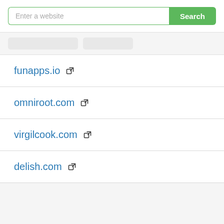[Figure (screenshot): Website search bar with text input reading 'Enter a website' and a green 'Search' button]
funaaps.io
omniroot.com
virgilcook.com
delish.com